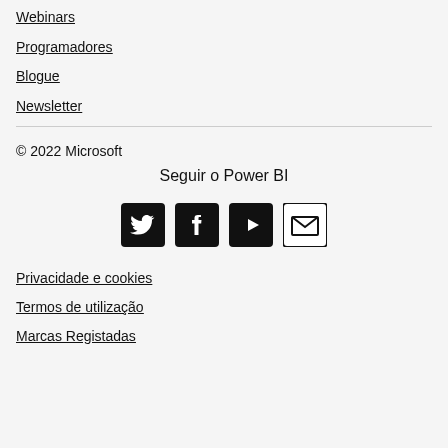Webinars
Programadores
Blogue
Newsletter
© 2022 Microsoft
Seguir o Power BI
[Figure (infographic): Social media icons: Twitter (black), Facebook (black), YouTube (black), Email/Envelope (outlined)]
Privacidade e cookies
Termos de utilização
Marcas Registadas